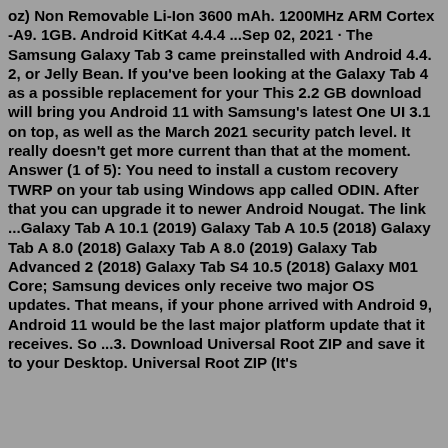oz) Non Removable Li-Ion 3600 mAh. 1200MHz ARM Cortex -A9. 1GB. Android KitKat 4.4.4 ...Sep 02, 2021 · The Samsung Galaxy Tab 3 came preinstalled with Android 4.4. 2, or Jelly Bean. If you've been looking at the Galaxy Tab 4 as a possible replacement for your This 2.2 GB download will bring you Android 11 with Samsung's latest One UI 3.1 on top, as well as the March 2021 security patch level. It really doesn't get more current than that at the moment. Answer (1 of 5): You need to install a custom recovery TWRP on your tab using Windows app called ODIN. After that you can upgrade it to newer Android Nougat. The link ...Galaxy Tab A 10.1 (2019) Galaxy Tab A 10.5 (2018) Galaxy Tab A 8.0 (2018) Galaxy Tab A 8.0 (2019) Galaxy Tab Advanced 2 (2018) Galaxy Tab S4 10.5 (2018) Galaxy M01 Core; Samsung devices only receive two major OS updates. That means, if your phone arrived with Android 9, Android 11 would be the last major platform update that it receives. So ...3. Download Universal Root ZIP and save it to your Desktop. Universal Root ZIP (It's